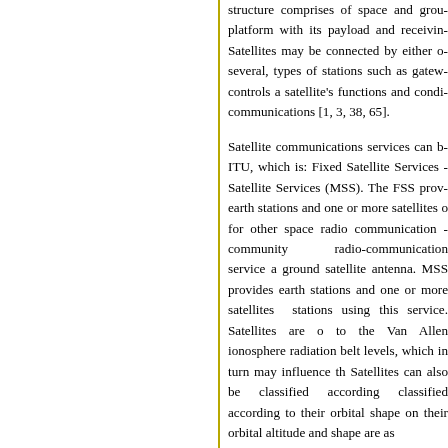structure comprises of space and ground platform with its payload and receiving. Satellites may be connected by either or several, types of stations such as gateway controls a satellite's functions and conditions communications [1, 3, 38, 65].
Satellite communications services can be ITU, which is: Fixed Satellite Services Satellite Services (MSS). The FSS provides earth stations and one or more satellites for other space radio communication community radio-communication service a ground satellite antenna. MSS provides earth stations and one or more satellites stations using this service. Satellites are to the Van Allen ionosphere radiation belt levels, which in turn may influence the Satellites can also be classified according classified according to their orbital shape on their orbital altitude and shape are as